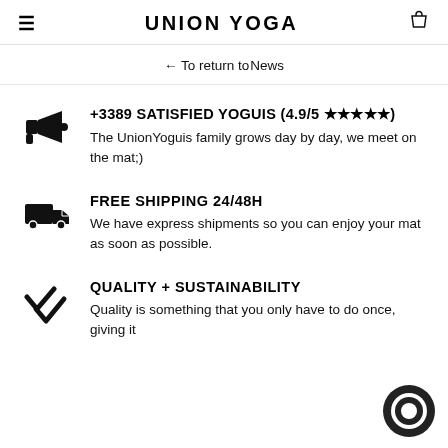UNION YOGA
← To return to News
+3389 SATISFIED YOGUIS (4.9/5 ★★★★★)
The UnionYoguis family grows day by day, we meet on the mat;)
FREE SHIPPING 24/48H
We have express shipments so you can enjoy your mat as soon as possible.
QUALITY + SUSTAINABILITY
Quality is something that you only have to do once, giving it...